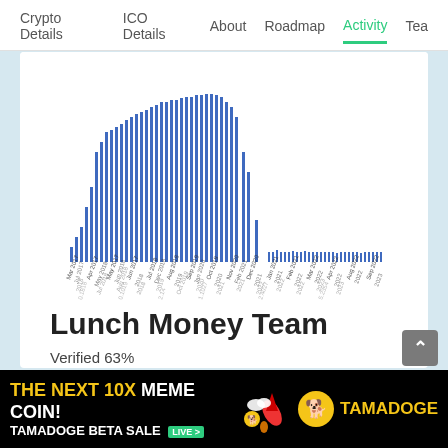Crypto Details  ICO Details  About  Roadmap  Activity  Tea
[Figure (bar-chart): A dense bar chart showing activity over time with many thin blue bars of varying heights, followed below by a dense overlapping text/date scatter visualization]
Lunch Money Team
Verified 63%
Attention. There is a risk that unverified
[Figure (infographic): Bottom advertisement banner: THE NEXT 10X MEME COIN! TAMADOGE BETA SALE LIVE with Tamadoge logo and rocket illustration]